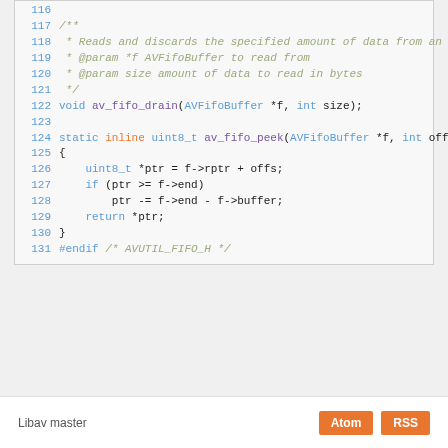[Figure (screenshot): Code snippet showing C source lines 116-131 of AVFifoBuffer, including av_fifo_drain and av_fifo_peek functions with Doxygen comments and #endif preprocessor directive]
Libav master   Atom   RSS